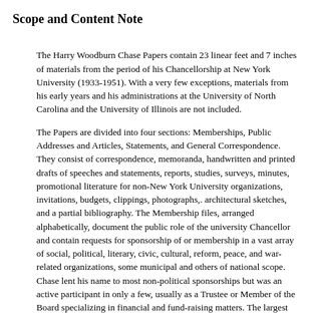Scope and Content Note
The Harry Woodburn Chase Papers contain 23 linear feet and 7 inches of materials from the period of his Chancellorship at New York University (1933-1951). With a very few exceptions, materials from his early years and his administrations at the University of North Carolina and the University of Illinois are not included.
The Papers are divided into four sections: Memberships, Public Addresses and Articles, Statements, and General Correspondence. They consist of correspondence, memoranda, handwritten and printed drafts of speeches and statements, reports, studies, surveys, minutes, promotional literature for non-New York University organizations, invitations, budgets, clippings, photographs,. architectural sketches, and a partial bibliography. The Membership files, arranged alphabetically, document the public role of the university Chancellor and contain requests for sponsorship of or membership in a vast array of social, political, literary, civic, cultural, reform, peace, and war-related organizations, some municipal and others of national scope. Chase lent his name to most non-political sponsorships but was an active participant in only a few, usually as a Trustee or Member of the Board specializing in financial and fund-raising matters. The largest files are those of the Lotos Club, Trinity Church, the American Committee for Christian German Refugees, the Metropolitan Opera Association, and Memorial Hospital. His service as committee Chairman of a federal Committee on the Older Worker in 1938 and a state Committee for the Retail Trade Minimum Wage Board in 1945 was primarily supervisory.
Public Addresses and Articles, filed chronologically, include many handwritten drafts. Delivered before various audiences, living conditions and...